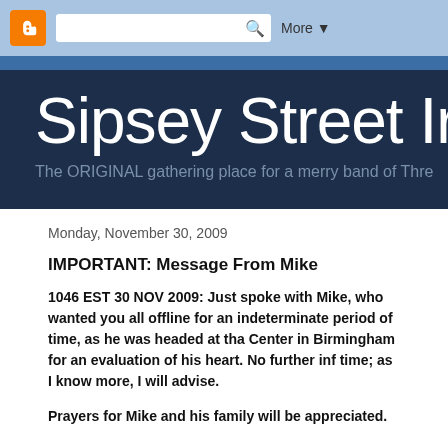[Figure (screenshot): Blogger navbar with orange Blogger icon, search box with magnifying glass, and More dropdown button on light blue background]
Sipsey Street Ir
The ORIGINAL gathering place for a merry band of Thre
Monday, November 30, 2009
IMPORTANT: Message From Mike
1046 EST 30 NOV 2009: Just spoke with Mike, who wanted you all offline for an indeterminate period of time, as he was headed at tha Center in Birmingham for an evaluation of his heart. No further inf time; as I know more, I will advise.
Prayers for Mike and his family will be appreciated.